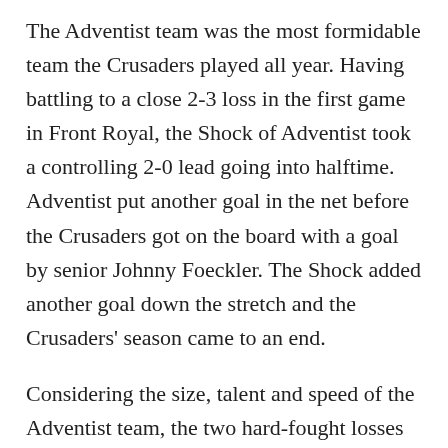The Adventist team was the most formidable team the Crusaders played all year. Having battling to a close 2-3 loss in the first game in Front Royal, the Shock of Adventist took a controlling 2-0 lead going into halftime. Adventist put another goal in the net before the Crusaders got on the board with a goal by senior Johnny Foeckler. The Shock added another goal down the stretch and the Crusaders' season came to an end.
Considering the size, talent and speed of the Adventist team, the two hard-fought losses in no way diminish their amazing season. The team currently stands with three players in the national top 25 for goals scored this year, including Sean